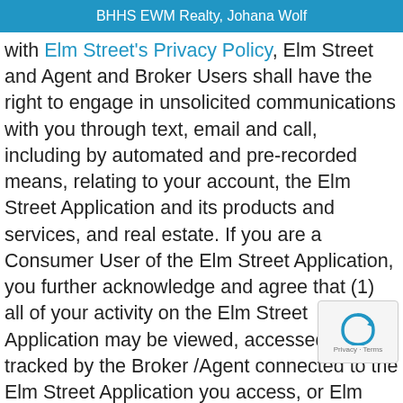BHHS EWM Realty, Johana Wolf
with Elm Street's Privacy Policy, Elm Street and Agent and Broker Users shall have the right to engage in unsolicited communications with you through text, email and call, including by automated and pre-recorded means, relating to your account, the Elm Street Application and its products and services, and real estate. If you are a Consumer User of the Elm Street Application, you further acknowledge and agree that (1) all of your activity on the Elm Street Application may be viewed, accessed, and tracked by the Broker /Agent connected to the Elm Street Application you access, or Elm Street, including, without lim when you access the Elm Street Application you view while using the Elm Street Application,